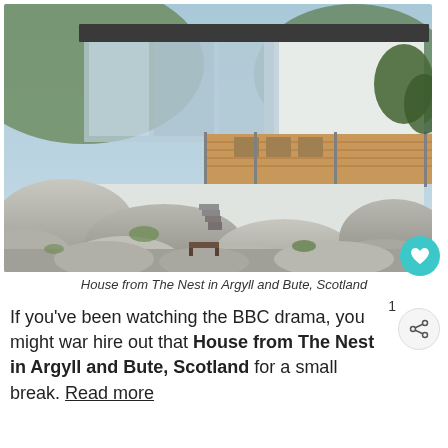[Figure (photo): Modern house with glass walls and wooden deck built on rocky terrain in Argyll and Bute, Scotland — the filming location from The Nest BBC drama]
House from The Nest in Argyll and Bute, Scotland
If you've been watching the BBC drama, you might want to hire out that House from The Nest in Argyll and Bute, Scotland for a small break. Read more